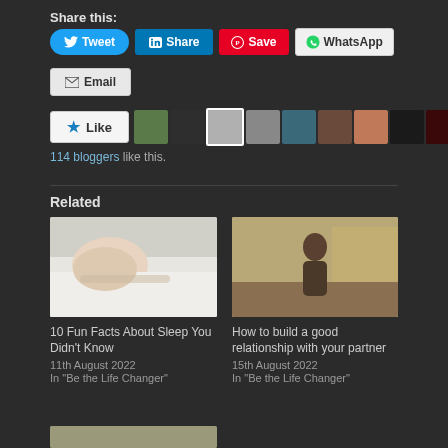Share this:
Tweet | Share | Save | WhatsApp
Email
[Figure (other): Like button with 9 blogger avatar thumbnails]
114 bloggers like this.
Related
[Figure (photo): Woman sleeping on white pillow - related article image]
10 Fun Facts About Sleep You Didn't Know
11th August 2022
In "Be the Life Changer"
[Figure (photo): Person doing yoga or stretching in a room - related article image]
How to build a good relationship with your partner
15th August 2022
In "Be the Life Changer"
[Figure (photo): Partial image of related article at bottom of page]